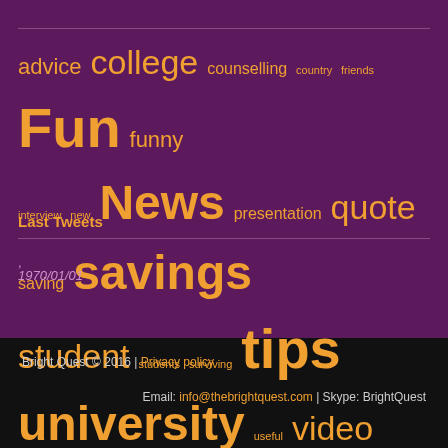[Figure (other): Tag cloud with education-related terms in orange on purple background. Terms include: advice, college, counselling, country, friends, Fun, funny, interview, new, News, presentation, quote, saving, savings, student, students, surviving, tips, university, useful, video]
Last Tweets
,
1970/01/01
Bright Quest © 2016 | Privacy policy
Email: info@thebrightquest.com | Skype: BrightQuest